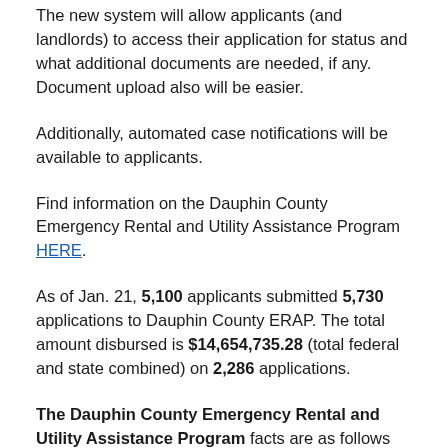The new system will allow applicants (and landlords) to access their application for status and what additional documents are needed, if any. Document upload also will be easier.
Additionally, automated case notifications will be available to applicants.
Find information on the Dauphin County Emergency Rental and Utility Assistance Program HERE.
As of Jan. 21, 5,100 applicants submitted 5,730 applications to Dauphin County ERAP. The total amount disbursed is $14,654,735.28 (total federal and state combined) on 2,286 applications.
The Dauphin County Emergency Rental and Utility Assistance Program facts are as follows and these